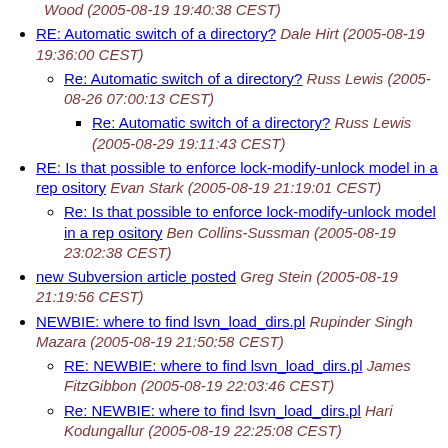Wood (2005-08-19 19:40:38 CEST)
RE: Automatic switch of a directory? Dale Hirt (2005-08-19 19:36:00 CEST)
Re: Automatic switch of a directory? Russ Lewis (2005-08-26 07:00:13 CEST)
Re: Automatic switch of a directory? Russ Lewis (2005-08-29 19:11:43 CEST)
RE: Is that possible to enforce lock-modify-unlock model in a rep ository Evan Stark (2005-08-19 21:19:01 CEST)
Re: Is that possible to enforce lock-modify-unlock model in a rep ository Ben Collins-Sussman (2005-08-19 23:02:38 CEST)
new Subversion article posted Greg Stein (2005-08-19 21:19:56 CEST)
NEWBIE: where to find lsvn_load_dirs.pl Rupinder Singh Mazara (2005-08-19 21:50:58 CEST)
RE: NEWBIE: where to find lsvn_load_dirs.pl James FitzGibbon (2005-08-19 22:03:46 CEST)
Re: NEWBIE: where to find lsvn_load_dirs.pl Hari Kodungallur (2005-08-19 22:25:08 CEST)
Re: NEWBIE: where to find lsvn_load_dirs.pl Rupinder Singh Mazara (2005-08-19 22:44:42 CEST)
Re: NEWBIE: where to find